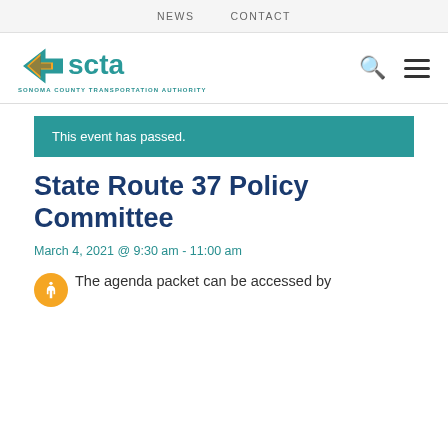NEWS    CONTACT
[Figure (logo): SCTA - Sonoma County Transportation Authority logo with teal road/arrow graphic and teal 'scta' wordmark]
This event has passed.
State Route 37 Policy Committee
March 4, 2021 @ 9:30 am - 11:00 am
The agenda packet can be accessed by